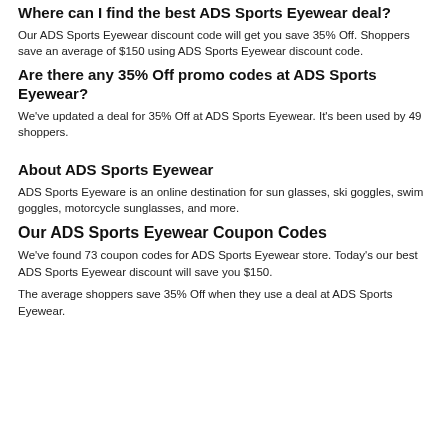Where can I find the best ADS Sports Eyewear deal?
Our ADS Sports Eyewear discount code will get you save 35% Off. Shoppers save an average of $150 using ADS Sports Eyewear discount code.
Are there any 35% Off promo codes at ADS Sports Eyewear?
We've updated a deal for 35% Off at ADS Sports Eyewear. It's been used by 49 shoppers.
About ADS Sports Eyewear
ADS Sports Eyeware is an online destination for sun glasses, ski goggles, swim goggles, motorcycle sunglasses, and more.
Our ADS Sports Eyewear Coupon Codes
We've found 73 coupon codes for ADS Sports Eyewear store. Today's our best ADS Sports Eyewear discount will save you $150.
The average shoppers save 35% Off when they use a deal at ADS Sports Eyewear.